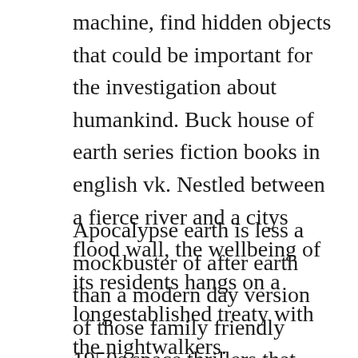machine, find hidden objects that could be important for the investigation about humankind. Buck house of earth series fiction books in english vk. Nestled between a fierce river and a citys flood wall, the wellbeing of its residents hangs on a longestablished treaty with the nightwalkers.
Apocalypse earth is less a mockbuster of after earth than a modern day version of those family friendly 1950s space thrillers that starred the likes of john agar. Closeup shot of asteroid rock over white background a comet,